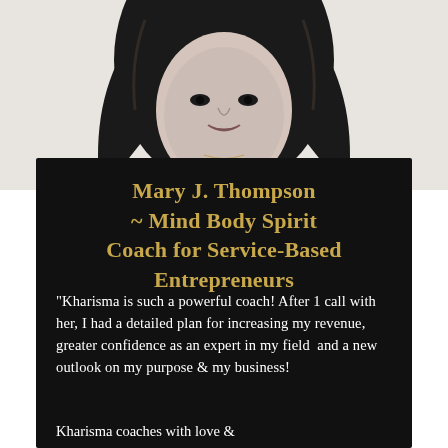[Figure (photo): Black and white portrait photograph of a woman with long dark hair, smiling, wearing a dark outfit, shot from roughly chin up]
Mary J. Thompson ~ Mind Body Spirit Coach for Service-Based Entrepreneurs
"Kharisma is such a powerful coach! After 1 call with her, I had a detailed plan for increasing my revenue, greater confidence as an expert in my field  and a new outlook on my purpose & my business!
Kharisma coaches with love &